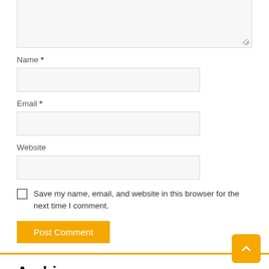[Figure (screenshot): Partial textarea input field at top of page, with resize handle in bottom-right corner]
Name *
[Figure (screenshot): Name text input field]
Email *
[Figure (screenshot): Email text input field]
Website
[Figure (screenshot): Website text input field]
Save my name, email, and website in this browser for the next time I comment.
Post Comment
Archives
June 2022